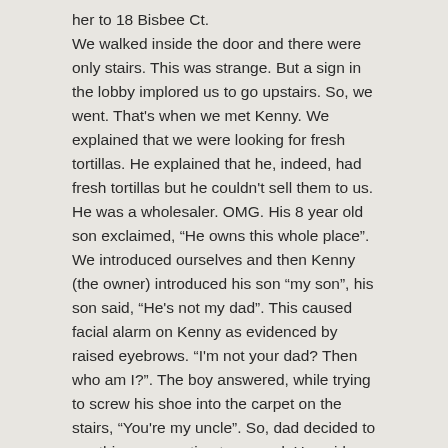her to 18 Bisbee Ct.

We walked inside the door and there were only stairs.  This was strange.  But a sign in the lobby implored us to go upstairs.  So, we went.  That's when we met Kenny.   We explained that we were looking for fresh tortillas.  He explained that he, indeed, had fresh tortillas but he couldn't sell them to us.  He was a wholesaler.  OMG.  His 8 year old son exclaimed, “He owns this whole place”.  We introduced ourselves and then Kenny (the owner) introduced his son “my son”, his son said, “He's not my dad”.   This caused facial alarm on Kenny as evidenced by raised eyebrows.  “I'm not your dad?  Then who am I?”.  The boy answered, while trying to screw his shoe into the carpet on the stairs, “You're my uncle”.  So, dad decided to run this conversation to ground.  He said, “well, how can I be your uncle?  Explain that to us.”   The child, appearing somewhat bewildered said, “My uncle died so I guess you can't be my uncle.”   Dad said, “That's right, your uncle did